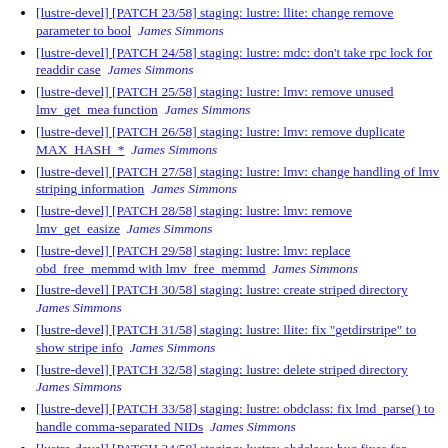[lustre-devel] [PATCH 23/58] staging: lustre: llite: change remove parameter to bool  James Simmons
[lustre-devel] [PATCH 24/58] staging: lustre: mdc: don't take rpc lock for readdir case  James Simmons
[lustre-devel] [PATCH 25/58] staging: lustre: lmv: remove unused lmv_get_mea function  James Simmons
[lustre-devel] [PATCH 26/58] staging: lustre: lmv: remove duplicate MAX_HASH_*  James Simmons
[lustre-devel] [PATCH 27/58] staging: lustre: lmv: change handling of lmv striping information  James Simmons
[lustre-devel] [PATCH 28/58] staging: lustre: lmv: remove lmv_get_easize  James Simmons
[lustre-devel] [PATCH 29/58] staging: lustre: lmv: replace obd_free_memmd with lmv_free_memmd  James Simmons
[lustre-devel] [PATCH 30/58] staging: lustre: create striped directory  James Simmons
[lustre-devel] [PATCH 31/58] staging: lustre: llite: fix "getdirstripe" to show stripe info  James Simmons
[lustre-devel] [PATCH 32/58] staging: lustre: delete striped directory  James Simmons
[lustre-devel] [PATCH 33/58] staging: lustre: obdclass: fix lmd_parse() to handle comma-separated NIDs  James Simmons
[lustre-devel] [PATCH 34/58] staging: lustre: obdclass: bug fixes for lu_device_type handling  James Simmons